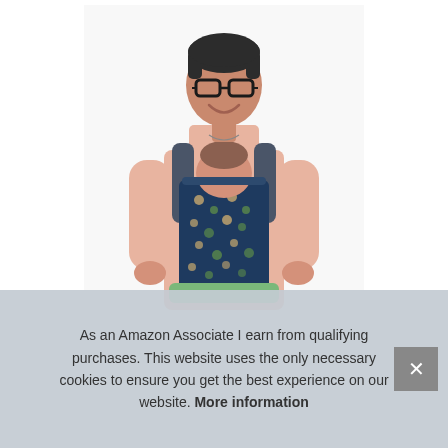[Figure (photo): A woman wearing glasses and a pink turtleneck sweater smiling upward, carrying a baby in a navy blue baby carrier with a forest/bear print pattern. The carrier has a green hip seat. White background.]
As an Amazon Associate I earn from qualifying purchases. This website uses the only necessary cookies to ensure you get the best experience on our website. More information